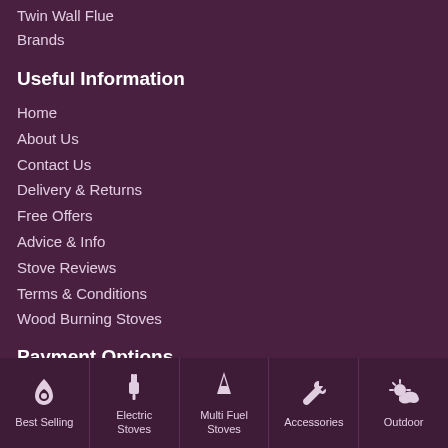Twin Wall Flue
Brands
Useful Information
Home
About Us
Contact Us
Delivery & Returns
Free Offers
Advice & Info
Stove Reviews
Terms & Conditions
Wood Burning Stoves
Payment Options
[Figure (infographic): Bottom navigation bar with 5 category icons: Best Selling (flame/drop icon), Electric Stoves (plug icon), Multi Fuel Stoves (lightning bolt icon), Accessories (wrench icon), Outdoor (sun/cloud icon)]